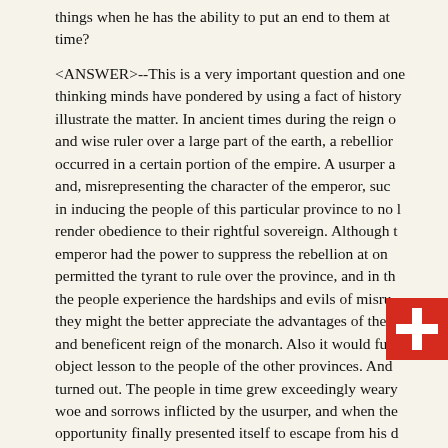things when he has the ability to put an end to them at any time?

<ANSWER>--This is a very important question and one that thinking minds have pondered by using a fact of history to illustrate the matter. In ancient times during the reign of a and wise ruler over a large part of the earth, a rebellion occurred in a certain portion of the empire. A usurper arose and, misrepresenting the character of the emperor, succeeded in inducing the people of this particular province to no longer render obedience to their rightful sovereign. Although the emperor had the power to suppress the rebellion at once, he permitted the tyrant to rule over the province, and in this way the people experience the hardships and evils of misrule that they might the better appreciate the advantages of the just and beneficent reign of the monarch. Also it would furnish an object lesson to the people of the other provinces. And so it turned out. The people in time grew exceedingly weary of the woe and sorrows inflicted by the usurper, and when the opportunity finally presented itself to escape from his dominion, they gladly returned to complete harmony with their emperor, expressing their allegiance and full submission to just commands. Satan, "The God (ruler) of this present evil world" is to be bound eventually and the people, liberated from his dominion and tyranny, and instructed in righteousness,
[Figure (illustration): Swiss flag (white cross on red background) overlaid on the text]